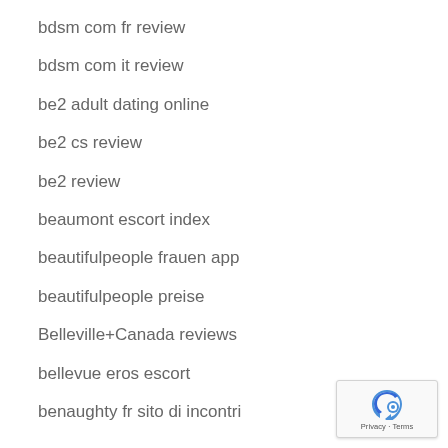bdsm com fr review
bdsm com it review
be2 adult dating online
be2 cs review
be2 review
beaumont escort index
beautifulpeople frauen app
beautifulpeople preise
Belleville+Canada reviews
bellevue eros escort
benaughty fr sito di incontri
[Figure (logo): reCAPTCHA badge with Privacy and Terms text]